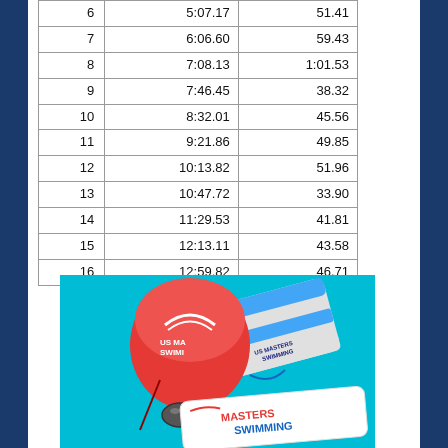| 6 | 5:07.17 | 51.41 |
| 7 | 6:06.60 | 59.43 |
| 8 | 7:08.13 | 1:01.53 |
| 9 | 7:46.45 | 38.32 |
| 10 | 8:32.01 | 45.56 |
| 11 | 9:21.86 | 49.85 |
| 12 | 10:13.82 | 51.96 |
| 13 | 10:47.72 | 33.90 |
| 14 | 11:29.53 | 41.81 |
| 15 | 12:13.11 | 43.58 |
| 16 | 12:59.82 | 46.71 |
[Figure (photo): US Masters Swimming branded merchandise including a red cap/bag with US Masters Swimming logo, blue and white kickboard, swimming goggles, and a Masters Swimming paddle, all on a teal/turquoise background.]